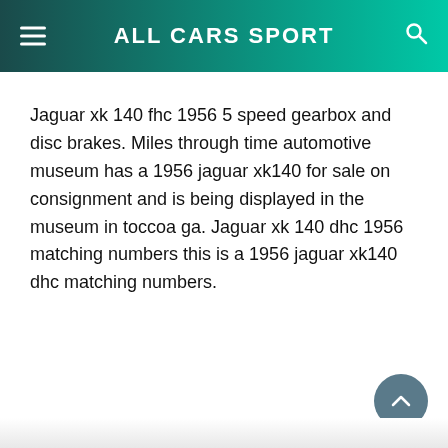ALL CARS SPORT
Jaguar xk 140 fhc 1956 5 speed gearbox and disc brakes. Miles through time automotive museum has a 1956 jaguar xk140 for sale on consignment and is being displayed in the museum in toccoa ga. Jaguar xk 140 dhc 1956 matching numbers this is a 1956 jaguar xk140 dhc matching numbers.